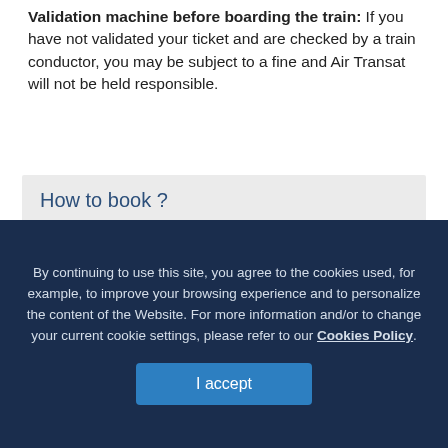Validation machine before boarding the train: If you have not validated your ticket and are checked by a train conductor, you may be subject to a fine and Air Transat will not be held responsible.
How to book ?
Online:
Use our booking engine to select your destination.
The Train + Air icon [train icon] will appear if it is available.
Telephone:
By continuing to use this site, you agree to the cookies used, for example, to improve your browsing experience and to personalize the content of the Website. For more information and/or to change your current cookie settings, please refer to our Cookies Policy.